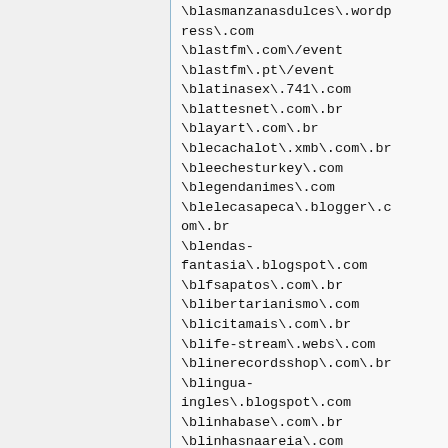\blasmanzanasdulces\.wordpress\.com
\blastfm\.com\/event
\blastfm\.pt\/event
\blatinasex\.741\.com
\blattesnet\.com\.br
\blayart\.com\.br
\blecachalot\.xmb\.com\.br
\bleechesturkey\.com
\blegendanimes\.com
\blelecasapeca\.blogger\.com\.br
\blendas-fantasia\.blogspot\.com
\blfsapatos\.com\.br
\blibertarianismo\.com
\blicitamais\.com\.br
\blife-stream\.webs\.com
\blinerecordsshop\.com\.br
\blingua-ingles\.blogspot\.com
\blinhabase\.com\.br
\blinhasnaareia\.com
\blinkinparker\.webs\.com
\blinkib